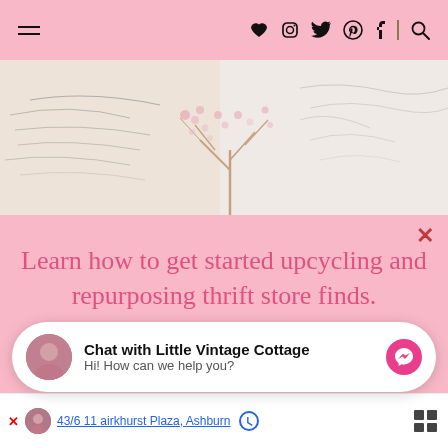Navigation bar with hamburger menu and social icons: heart, Instagram, Twitter, Pinterest, Facebook, search
[Figure (illustration): Decorative banner image with floral/botanical line art in muted beige, pink cherry blossom branches, and grey brushstroke patterns on a light background]
Learn how to get started upcycling and repurposing thrift store finds.
GET THE FREE GUIDE
Chat with Little Vintage Cottage
Hi! How can we help you?
4576 11 aifKhurst Plaza, Ashburn